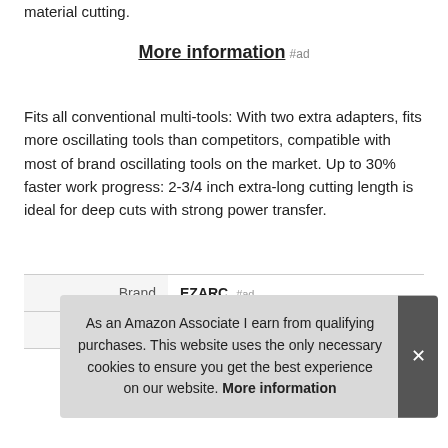material cutting.
More information #ad
Fits all conventional multi-tools: With two extra adapters, fits more oscillating tools than competitors, compatible with most of brand oscillating tools on the market. Up to 30% faster work progress: 2-3/4 inch extra-long cutting length is ideal for deep cuts with strong power transfer.
|  |  |
| --- | --- |
| Brand | EZARC #ad |
| Manufacturer | EZARC #ad |
As an Amazon Associate I earn from qualifying purchases. This website uses the only necessary cookies to ensure you get the best experience on our website. More information